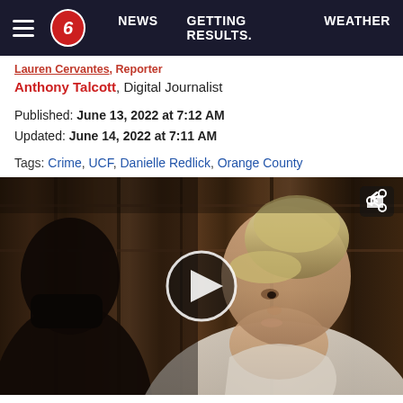NEWS  GETTING RESULTS.  WEATHER
Lauren Cervantes, Reporter
Anthony Talcott, Digital Journalist
Published: June 13, 2022 at 7:12 AM
Updated: June 14, 2022 at 7:11 AM
Tags: Crime, UCF, Danielle Redlick, Orange County
[Figure (screenshot): Courtroom video still showing two women: one with dark hair on the left wearing a mask, and another blonde woman in a light-colored jacket on the right, with a play button overlay and share icon.]